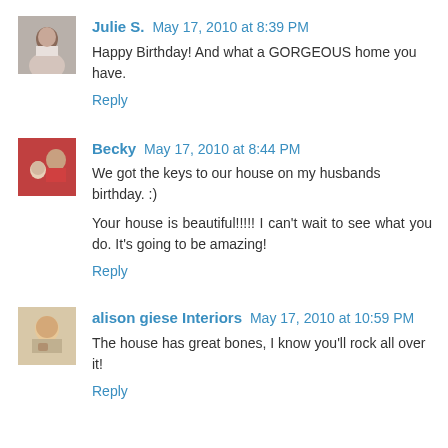[Figure (photo): Avatar photo of Julie S., woman in white]
Julie S. May 17, 2010 at 8:39 PM
Happy Birthday! And what a GORGEOUS home you have.
Reply
[Figure (photo): Avatar photo of Becky, woman holding baby]
Becky May 17, 2010 at 8:44 PM
We got the keys to our house on my husbands birthday. :)
Your house is beautiful!!!!! I can't wait to see what you do. It's going to be amazing!
Reply
[Figure (photo): Avatar photo of alison giese Interiors, woman with mug]
alison giese Interiors May 17, 2010 at 10:59 PM
The house has great bones, I know you'll rock all over it!
Reply